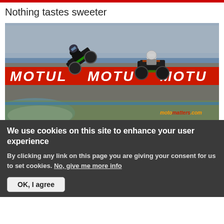Nothing tastes sweeter
[Figure (photo): Two motorcycle racers on a track corner, one nearly crashing with the bike nearly horizontal, in front of a grandstand crowd. A red MOTUL advertising banner is visible on the barrier. Watermark: motomatters.com]
We use cookies on this site to enhance your user experience
By clicking any link on this page you are giving your consent for us to set cookies. No, give me more info
OK, I agree